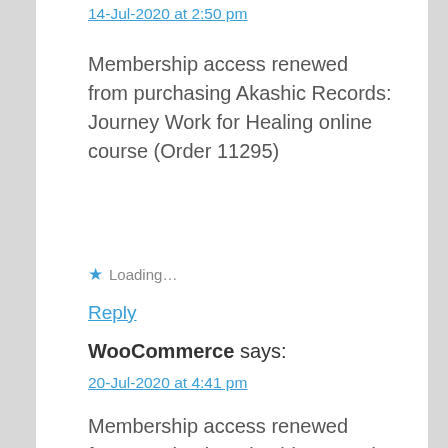14-Jul-2020 at 2:50 pm
Membership access renewed from purchasing Akashic Records: Journey Work for Healing online course (Order 11295)
Loading...
Reply
WooCommerce says:
20-Jul-2020 at 4:41 pm
Membership access renewed from purchasing Akashic Records: Journey Work for Healing online course (Order 11490)
Loading...
Reply